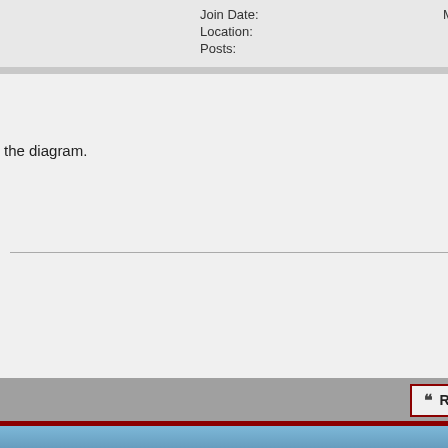| Field | Value |
| --- | --- |
| Join Date: | May 2013 |
| Location: | VA |
| Posts: | 38 |
the diagram.
Reply With Quote
#63
| Field | Value |
| --- | --- |
| Join Date: | May 2013 |
| Location: | Kansas |
| Posts: | 41 |
uide rails (points #10). That's great on the
on the frame that should be lubed in
uction than damage my MK9